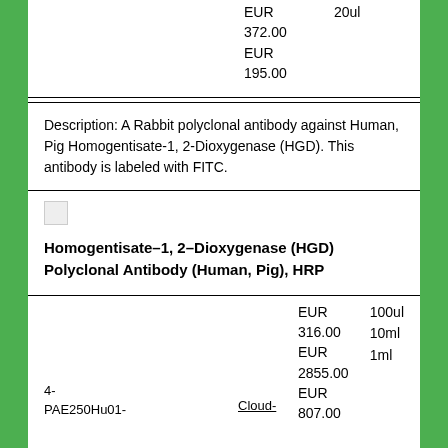EUR 372.00 EUR 195.00
20ul
Description: A Rabbit polyclonal antibody against Human, Pig Homogentisate-1, 2-Dioxygenase (HGD). This antibody is labeled with FITC.
[Figure (photo): Small product image thumbnail]
Homogentisate-1, 2-Dioxygenase (HGD) Polyclonal Antibody (Human, Pig), HRP
EUR 316.00 EUR 2855.00 EUR 807.00
100ul 10ml 1ml
4-PAE250Hu01-
Cloud-